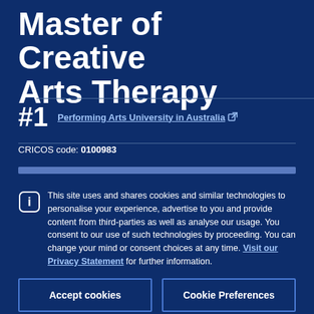Master of Creative Arts Therapy
#1 Performing Arts University in Australia
CRICOS code: 0100983
This site uses and shares cookies and similar technologies to personalise your experience, advertise to you and provide content from third-parties as well as analyse our usage. You consent to our use of such technologies by proceeding. You can change your mind or consent choices at any time. Visit our Privacy Statement for further information.
Accept cookies
Cookie Preferences